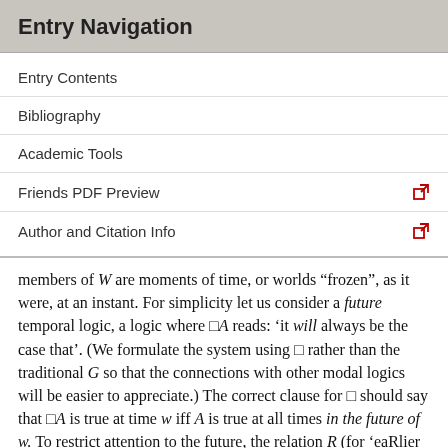Entry Navigation
Entry Contents
Bibliography
Academic Tools
Friends PDF Preview
Author and Citation Info
members of W are moments of time, or worlds “frozen”, as it were, at an instant. For simplicity let us consider a future temporal logic, a logic where □A reads: ‘it will always be the case that’. (We formulate the system using □ rather than the traditional G so that the connections with other modal logics will be easier to appreciate.) The correct clause for □ should say that □A is true at time w iff A is true at all times in the future of w. To restrict attention to the future, the relation R (for ‘eaRlier than’) needs to be introduced. Then the correct clause can be formulated as follows.